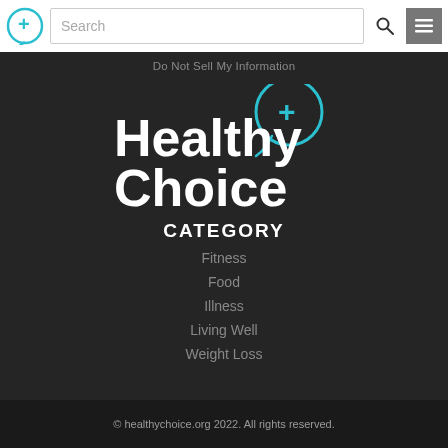Search
Do Not Sell My Information
[Figure (logo): Healthy Choice logo with teal speech bubble containing a plus sign, white bold text reading Healthy Choice]
CATEGORY
Fitness
Food
Illness
Living Well
Weight Loss
© healthychoice.org 2022. All rights reserved.